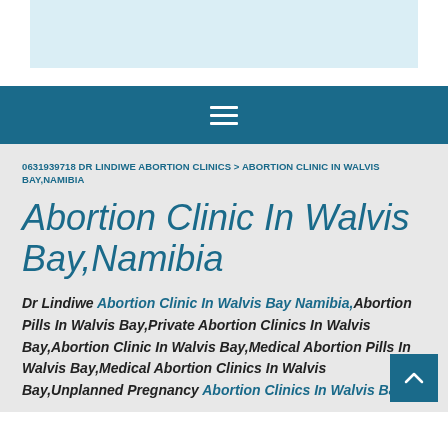[Figure (other): Light blue banner/header bar at top of page]
[Figure (other): Dark teal navigation bar with hamburger menu icon]
0631939718 DR LINDIWE ABORTION CLINICS > ABORTION CLINIC IN WALVIS BAY,NAMIBIA
Abortion Clinic In Walvis Bay,Namibia
Dr Lindiwe Abortion Clinic In Walvis Bay Namibia,Abortion Pills In Walvis Bay,Private Abortion Clinics In Walvis Bay,Abortion Clinic In Walvis Bay,Medical Abortion Pills In Walvis Bay,Medical Abortion Clinics In Walvis Bay,Unplanned Pregnancy Abortion Clinics In Walvis Bay